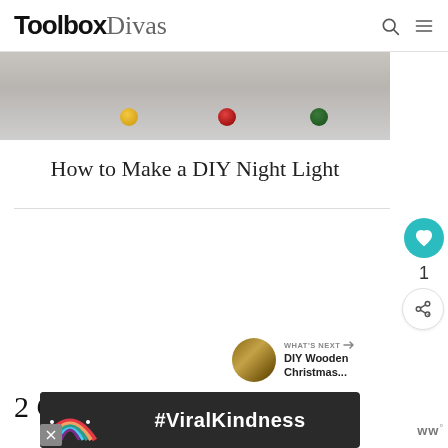ToolboxDivas
[Figure (photo): Partial photo showing colored dots (yellow, red, dark green) against a light gray background — top of a DIY night light project.]
How to Make a DIY Night Light
2 Comments
[Figure (infographic): Advertisement banner with rainbow graphic and #ViralKindness text on dark background.]